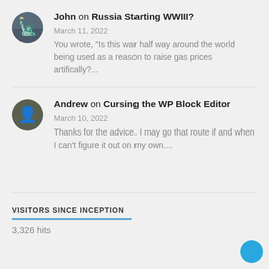John on Russia Starting WWIII? March 11, 2022 You wrote, "Is this war half way around the world being used as a reason to raise gas prices artifically?...
Andrew on Cursing the WP Block Editor March 10, 2022 Thanks for the advice. I may go that route if and when I can't figure it out on my own....
VISITORS SINCE INCEPTION
3,326 hits